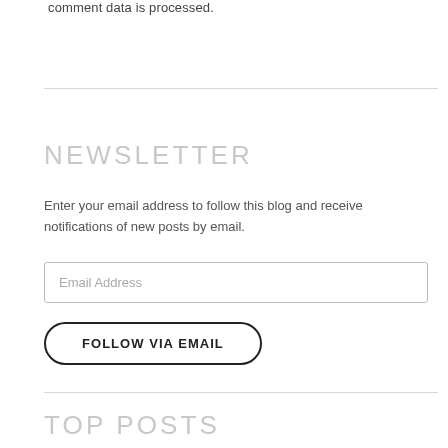comment data is processed.
NEWSLETTER
Enter your email address to follow this blog and receive notifications of new posts by email.
Email Address
FOLLOW VIA EMAIL
TOP POSTS